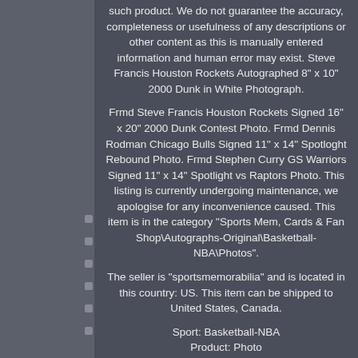such product. We do not guarantee the accuracy, completeness or usefulness of any descriptions or other content as this is manually entered information and human error may exist. Steve Francis Houston Rockets Autographed 8" x 10" 2000 Dunk in White Photograph.
Frmd Steve Francis Houston Rockets Signed 16" x 20" 2000 Dunk Contest Photo. Frmd Dennis Rodman Chicago Bulls Signed 11" x 14" Spotloght Rebound Photo. Frmd Stephen Curry GS Warriors Signed 11" x 14" Spotlight vs Raptors Photo. This listing is currently undergoing maintenance, we apologise for any inconvenience caused. This item is in the category "Sports Mem, Cards & Fan Shop\Autographs-Original\Basketball-NBA\Photos".
The seller is "sportsmemorabilia" and is located in this country: US. This item can be shipped to United States, Canada.
Sport: Basketball-NBA
Product: Photo
Original/Reprint: Original
Player: Michael Jordan
Autograph Authentication: Upper Deck Authenticated (UDA)